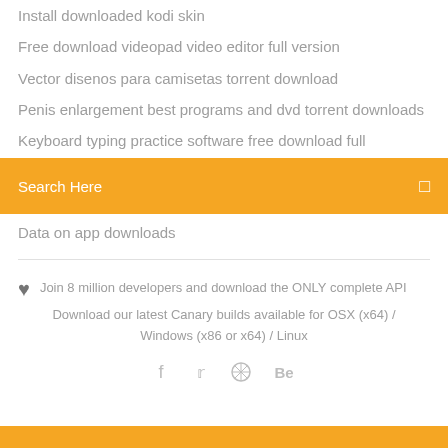Install downloaded kodi skin
Free download videopad video editor full version
Vector disenos para camisetas torrent download
Penis enlargement best programs and dvd torrent downloads
Keyboard typing practice software free download full
Search Here
Data on app downloads
Join 8 million developers and download the ONLY complete API
Download our latest Canary builds available for OSX (x64) / Windows (x86 or x64) / Linux
[Figure (infographic): Social media icons: Facebook, Twitter, a compass/wheel icon, and Behance]